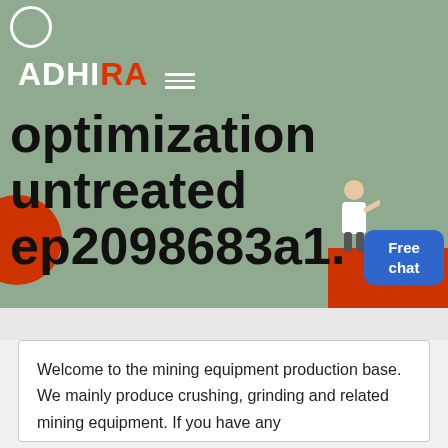[Figure (infographic): Hero banner with sage green background, ADHIRA logo in white and red, large bold text reading 'optimization untreated ep2098683a1.', decorative red circle and rectangle, person figure, Free chat button, circle outline outline]
Welcome to the mining equipment production base. We mainly produce crushing, grinding and related mining equipment. If you have any